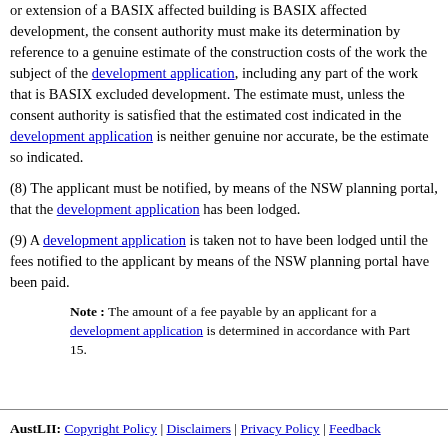or extension of a BASIX affected building is BASIX affected development, the consent authority must make its determination by reference to a genuine estimate of the construction costs of the work the subject of the development application, including any part of the work that is BASIX excluded development. The estimate must, unless the consent authority is satisfied that the estimated cost indicated in the development application is neither genuine nor accurate, be the estimate so indicated.
(8) The applicant must be notified, by means of the NSW planning portal, that the development application has been lodged.
(9) A development application is taken not to have been lodged until the fees notified to the applicant by means of the NSW planning portal have been paid.
Note : The amount of a fee payable by an applicant for a development application is determined in accordance with Part 15.
AustLII: Copyright Policy | Disclaimers | Privacy Policy | Feedback